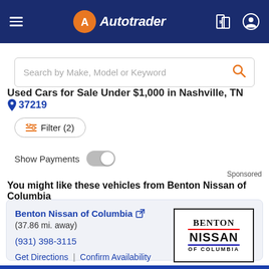[Figure (screenshot): Autotrader mobile app header with logo, hamburger menu, and icons]
Search by Make, Model or Keyword
Used Cars for Sale Under $1,000 in Nashville, TN  37219
Filter (2)
Show Payments
Sponsored
You might like these vehicles from Benton Nissan of Columbia
Benton Nissan of Columbia
(37.86 mi. away)
(931) 398-3115
Get Directions  |  Confirm Availability
[Figure (logo): Benton Nissan of Columbia dealer logo]